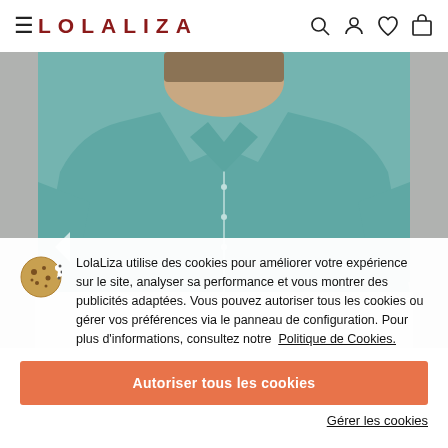≡ LOLALIZA
[Figure (photo): Woman wearing a teal/turquoise button-up shirt, upper body visible, product photo on e-commerce site]
LolaLiza utilise des cookies pour améliorer votre expérience sur le site, analyser sa performance et vous montrer des publicités adaptées. Vous pouvez autoriser tous les cookies ou gérer vos préférences via le panneau de configuration. Pour plus d'informations, consultez notre Politique de Cookies.
Autoriser tous les cookies
Gérer les cookies